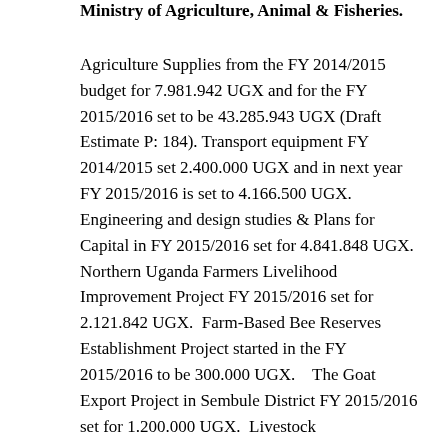Ministry of Agriculture, Animal & Fisheries.
Agriculture Supplies from the FY 2014/2015 budget for 7.981.942 UGX and for the FY 2015/2016 set to be 43.285.943 UGX (Draft Estimate P: 184). Transport equipment FY 2014/2015 set 2.400.000 UGX and in next year FY 2015/2016 is set to 4.166.500 UGX. Engineering and design studies & Plans for Capital in FY 2015/2016 set for 4.841.848 UGX. Northern Uganda Farmers Livelihood Improvement Project FY 2015/2016 set for 2.121.842 UGX.  Farm-Based Bee Reserves Establishment Project started in the FY 2015/2016 to be 300.000 UGX.   The Goat Export Project in Sembule District FY 2015/2016 set for 1.200.000 UGX.  Livestock